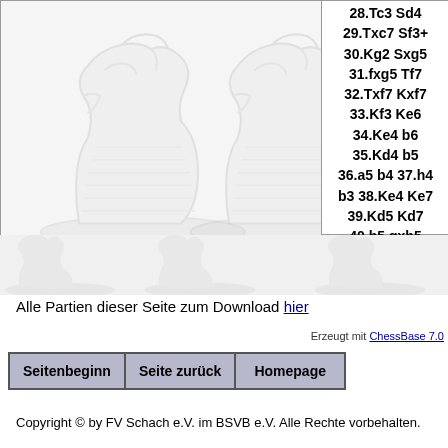[Figure (illustration): Chess knight piece illustration (line drawing), two pieces side by side, faded/watermark style]
28.Tc3 Sd4 29.Txc7 Sf3+ 30.Kg2 Sxg5 31.fxg5 Tf7 32.Txf7 Kxf7 33.Kf3 Ke6 34.Ke4 b6 35.Kd4 b5 36.a5 b4 37.h4 b3 38.Ke4 Ke7 39.Kd5 Kd7 40.h5 gxh5 41.gxh5 1-0
[Figure (illustration): Chess knight pieces watermark background (faded)]
Alle Partien dieser Seite zum Download hier
Erzeugt mit ChessBase 7.0
Seitenbeginn
Seite zurück
Homepage
Copyright © by FV Schach e.V. im BSVB e.V. Alle Rechte vorbehalten.